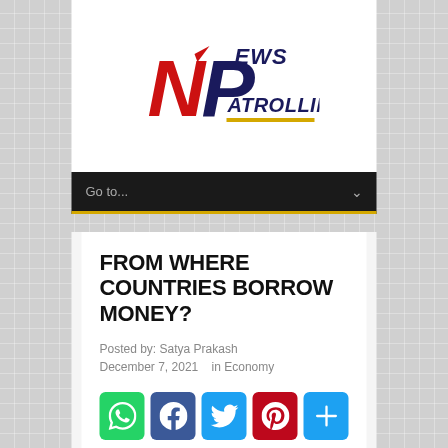[Figure (logo): News Patrolling logo with stylized NP letters in red and dark blue, with 'NEWS' and 'PATROLLING' text]
Go to...
FROM WHERE COUNTRIES BORROW MONEY?
Posted by: Satya Prakash
December 7, 2021   in Economy
[Figure (infographic): Social sharing buttons row: WhatsApp (green), Facebook (blue), Twitter (light blue), Pinterest (red), Plus/Share (light blue)]
People borrow money from banks,